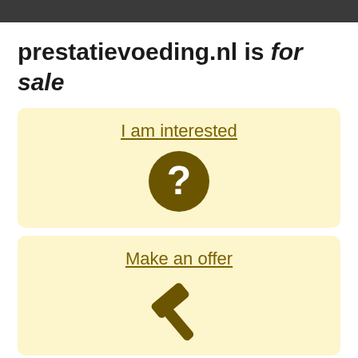prestatievoeding.nl is for sale
I am interested
[Figure (illustration): Dark olive/brown circle with white question mark inside]
Make an offer
[Figure (illustration): Dark olive/brown gavel/auction hammer icon]